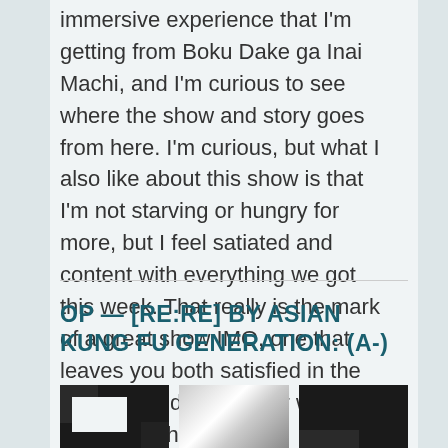immersive experience that I'm getting from Boku Dake ga Inai Machi, and I'm curious to see where the show and story goes from here. I'm curious, but what I also like about this show is that I'm not starving or hungry for more, but I feel satiated and content with everything we got this week. That really is the mark of a great show IMO, one that leaves you both satisfied in the present, and excited for what's coming in the future.
OP — [RE:RE] BY ASIAN KUNG FU GENERATION: (A-)
[Figure (photo): Three thumbnail images side by side: left is black with a geometric cutout shape, middle is grayscale with light streaks/motion blur, right is black with a rectangular cutout shape.]